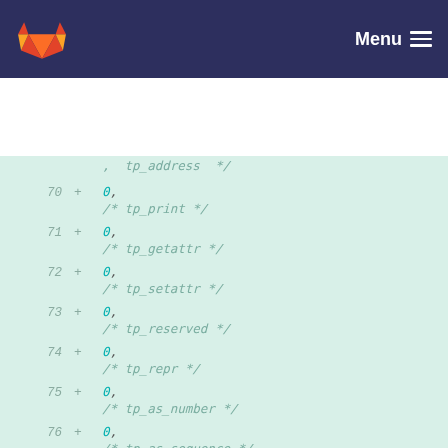GitLab — Menu
Code diff showing lines 70–79 with 0, /* tp_print */ 0, /* tp_getattr */ 0, /* tp_setattr */ 0, /* tp_reserved */ 0, /* tp_repr */ 0, /* tp_as_number */ 0, /* tp_as_sequence */ 0, /* tp_as_mapping */ 0, /* tp_hash */ 0, /* tp_call */